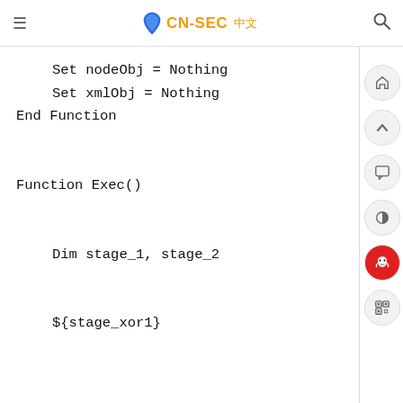CN-SEC 中文
Set nodeObj = Nothing
    Set xmlObj = Nothing
End Function

Function Exec()

    Dim stage_1, stage_2

    ${stage_xor1}


    ${stage_xor2}


    new_stage_1 = b64Decode(stage_1)